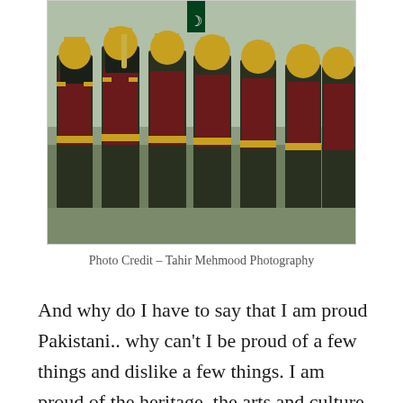[Figure (photo): Military/ceremonial band marching in dark uniforms with gold trim and helmets, holding instruments, with a Pakistani flag visible in the background.]
Photo Credit – Tahir Mehmood Photography
And why do I have to say that I am proud Pakistani.. why can't I be proud of a few things and dislike a few things. I am proud of the heritage, the arts and culture, the writers and the poets, the artists and the philanthropists like Edhi Sahab or Dr Adeeb Rizvi and the people who are brave enough to live there and make a difference in the life of their fellow under privileged Pakistanis.